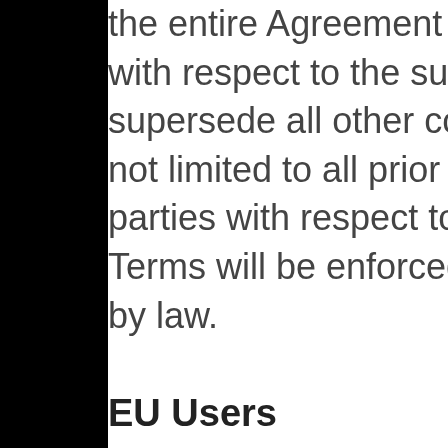the entire Agreement between Users and the Owner with respect to the subject matter hereof, and supersede all other communications, including but not limited to all prior agreements, between the parties with respect to such subject matter. These Terms will be enforced to the fullest extent permitted by law.
EU Users
Should any provision of these Terms be or be deemed void, invalid or unenforceable, the parties shall do their best to find, in an amicable way, an agreement on valid and enforceable provisions thereby substituting the void, invalid or unenforceable parts.
In case of failure to do so, the void, invalid or unenforceable provisions shall be replaced by the applicable statutory provisions, if so permitted or stated under the applicable law.
Without prejudice to the above, the nullity, invalidity or the impossibility to enforce a particular provision of these